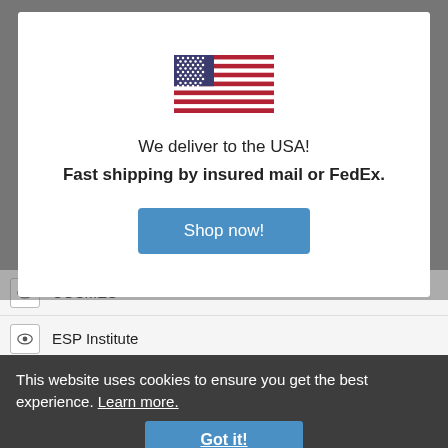[Figure (screenshot): Modal popup showing a US flag with text 'We deliver to the USA! Fast shipping by insured mail or FedEx.' and a 'Shop now!' button in blue]
COSMES
ESP Institute
This website uses cookies to ensure you get the best experience. Learn more.
Got it!
Tracklist
Side 1
1. "From Other space"
2. "Gomez Land"